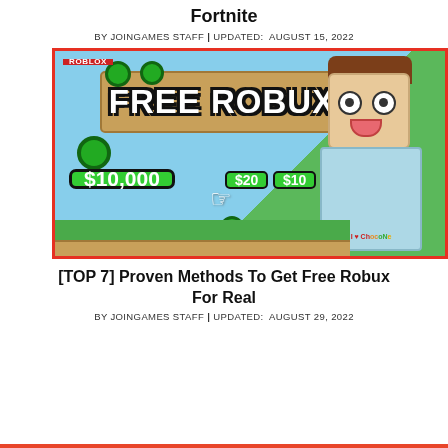Fortnite
BY JOINGAMES STAFF | UPDATED:  AUGUST 15, 2022
[Figure (illustration): Roblox 'Free Robux' promotional thumbnail with cartoon character, showing $10,000, $20, $10 green buttons]
[TOP 7] Proven Methods To Get Free Robux For Real
BY JOINGAMES STAFF | UPDATED:  AUGUST 29, 2022